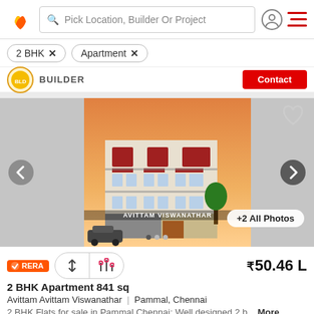Pick Location, Builder Or Project
2 BHK ×
Apartment ×
BUILDER
[Figure (photo): Exterior rendering of a multi-storey residential apartment building (Avittam Viswanathar) with red and beige facade, balconies, glass railings, and cars parked in front, against an orange sunset sky. Carousel navigation arrows on left and right. Heart icon top-right. '+2 All Photos' button bottom-right.]
RERA
2 BHK Apartment 841 sq
₹50.46 L
Avittam Avittam Viswanathar  |  Pammal, Chennai
2 BHK Flats for sale in Pammal Chennai: Well designed 2 b... More